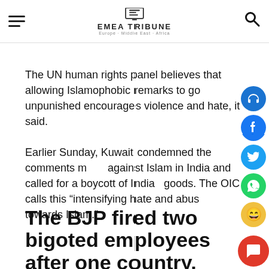EMEA TRIBUNE
The UN human rights panel believes that allowing Islamophobic remarks to go unpunished encourages violence and hate, it said.
Earlier Sunday, Kuwait condemned the comments made against Islam in India and called for a boycott of Indian goods. The OIC calls this “intensifying hate and abuse towards Islam.”
The BJP fired two bigoted employees after one country, Qatar, took a stand